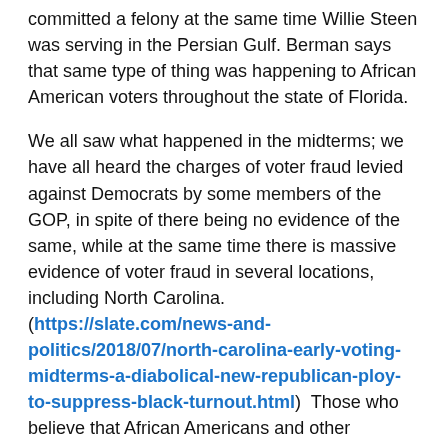committed a felony at the same time Willie Steen was serving in the Persian Gulf. Berman says that same type of thing was happening to African American voters throughout the state of Florida.
We all saw what happened in the midterms; we have all heard the charges of voter fraud levied against Democrats by some members of the GOP, in spite of there being no evidence of the same, while at the same time there is massive evidence of voter fraud in several locations, including North Carolina. (https://slate.com/news-and-politics/2018/07/north-carolina-early-voting-midterms-a-diabolical-new-republican-ploy-to-suppress-black-turnout.html)  Those who believe that African Americans and other members of other ethnic groups are not worthy of voting have continued to do all they can to make sure they keep things like they want them – which does not include people of color.